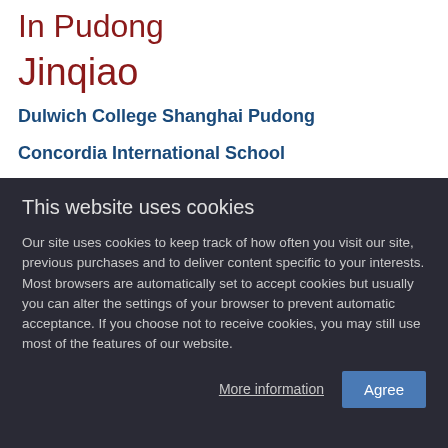In Pudong
Jinqiao
Dulwich College Shanghai Pudong
Concordia International School
Harrow International School Shanghai
This website uses cookies
Our site uses cookies to keep track of how often you visit our site, previous purchases and to deliver content specific to your interests. Most browsers are automatically set to accept cookies but usually you can alter the settings of your browser to prevent automatic acceptance. If you choose not to receive cookies, you may still use most of the features of our website.
More information  Agree